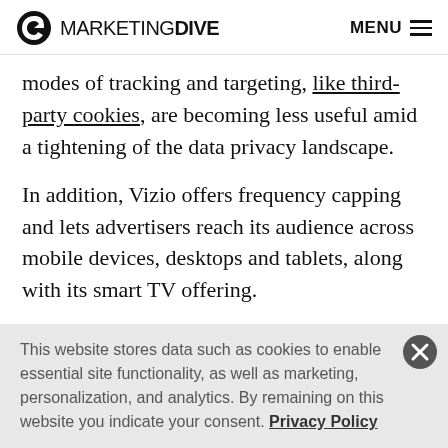Marketing Dive — MENU
modes of tracking and targeting, like third-party cookies, are becoming less useful amid a tightening of the data privacy landscape.
In addition, Vizio offers frequency capping and lets advertisers reach its audience across mobile devices, desktops and tablets, along with its smart TV offering.
Vizio also allows advertisers to capture consumer attention with ad inventory on WatchFree+, an offering of
This website stores data such as cookies to enable essential site functionality, as well as marketing, personalization, and analytics. By remaining on this website you indicate your consent. Privacy Policy